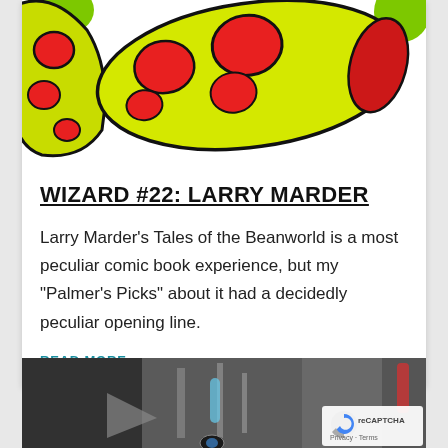[Figure (illustration): Colorful cartoon illustration of a yellow bean-like creature with red spots on a white background, with green blobs in corners]
WIZARD #22: LARRY MARDER
Larry Marder's Tales of the Beanworld is a most peculiar comic book experience, but my "Palmer's Picks" about it had a decidedly peculiar opening line.
READ MORE
[Figure (photo): Partially visible photograph of a storefront or market scene, with a Google reCAPTCHA badge in the bottom right corner showing Privacy and Terms links]